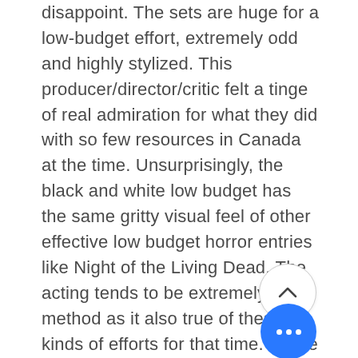disappoint. The sets are huge for a low-budget effort, extremely odd and highly stylized. This producer/director/critic felt a tinge of real admiration for what they did with so few resources in Canada at the time. Unsurprisingly, the black and white low budget has the same gritty visual feel of other effective low budget horror entries like Night of the Living Dead. The acting tends to be extremely method as it also true of these kinds of efforts for that time. These combined characteristics imbue the film with a quasi-documentary feel as all such films of the era exhibit and adds to the disquieting suspense. As a hybrid creature of arthouse cinema and unapologetic exploitation gimmickry, the film is essentially unique. Imagine,